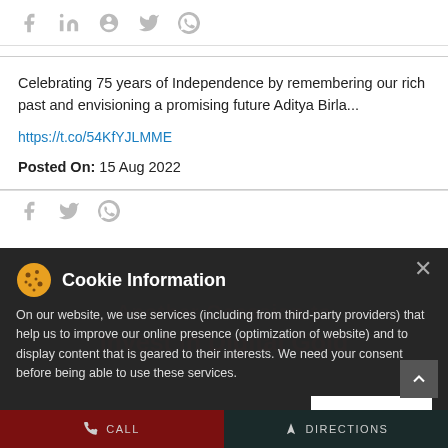[Figure (other): Social share icons row: Facebook, LinkedIn, Pinterest, Twitter, WhatsApp in gray]
Celebrating 75 years of Independence by remembering our rich past and envisioning a promising future Aditya Birla...
https://t.co/54KfYJLMME
Posted On: 15 Aug 2022
[Figure (other): Social share icons row: Facebook, Twitter, WhatsApp in gray]
Cookie Information
On our website, we use services (including from third-party providers) that help us to improve our online presence (optimization of website) and to display content that is geared to their interests. We need your consent before being able to use these services.
I ACCEPT
[Figure (other): Dark promotional banner with text: Another Occasion to Invest in Digital Gold]
CALL   DIRECTIONS